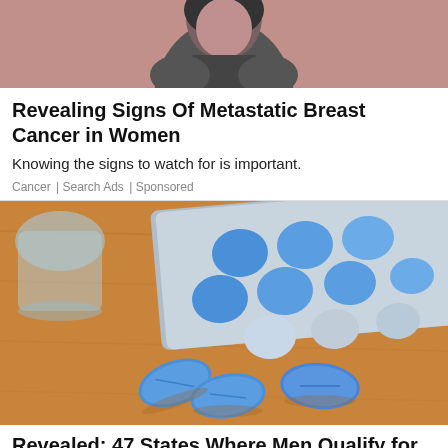[Figure (illustration): Partial illustration showing a cartoon figure with dark hair against a rosy/mauve background, cropped at the top of the page]
Revealing Signs Of Metastatic Breast Cancer in Women
Knowing the signs to watch for is important.
Cancer | Search Ads | Sponsored
[Figure (photo): Close-up photo of blue oval pills on a wooden surface with a blister pack of blue tablets in the background]
Revealed: 47 States Where Men Qualify for